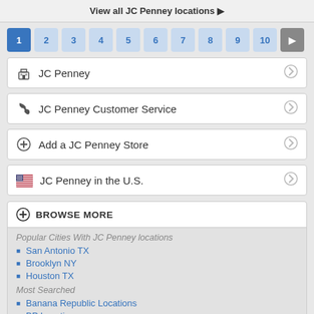View all JC Penney locations ▶
1 2 3 4 5 6 7 8 9 10 ▶
JC Penney
JC Penney Customer Service
Add a JC Penney Store
JC Penney in the U.S.
BROWSE MORE
Popular Cities With JC Penney locations
San Antonio TX
Brooklyn NY
Houston TX
Most Searched
Banana Republic Locations
BP Locations
Dickies Locations